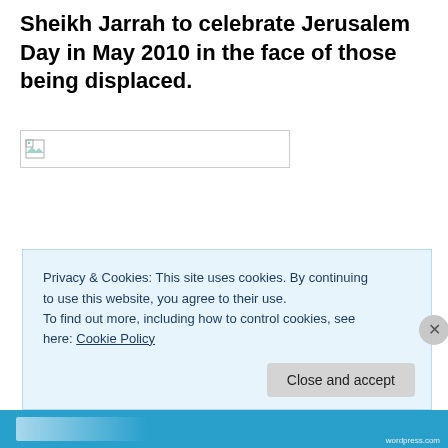Sheikh Jarrah to celebrate Jerusalem Day in May 2010 in the face of those being displaced.
[Figure (photo): Broken/missing image placeholder]
Privacy & Cookies: This site uses cookies. By continuing to use this website, you agree to their use.
To find out more, including how to control cookies, see here: Cookie Policy
Close and accept